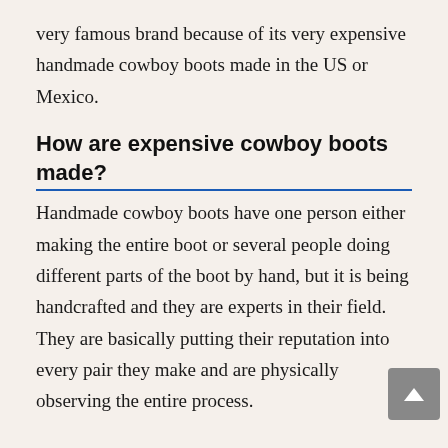very famous brand because of its very expensive handmade cowboy boots made in the US or Mexico.
How are expensive cowboy boots made?
Handmade cowboy boots have one person either making the entire boot or several people doing different parts of the boot by hand, but it is being handcrafted and they are experts in their field. They are basically putting their reputation into every pair they make and are physically observing the entire process.